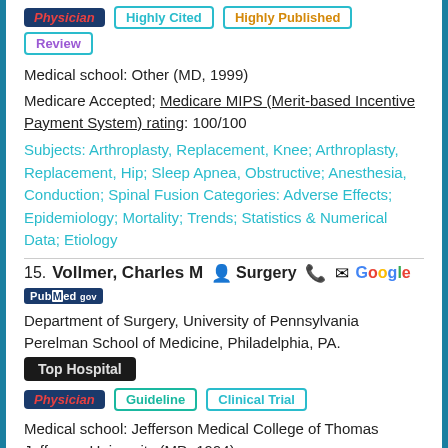Physician | Highly Cited | Highly Published | Review
Medical school: Other (MD, 1999)
Medicare Accepted; Medicare MIPS (Merit-based Incentive Payment System) rating: 100/100
Subjects: Arthroplasty, Replacement, Knee; Arthroplasty, Replacement, Hip; Sleep Apnea, Obstructive; Anesthesia, Conduction; Spinal Fusion Categories: Adverse Effects; Epidemiology; Mortality; Trends; Statistics & Numerical Data; Etiology
15. Vollmer, Charles M — Surgery
Department of Surgery, University of Pennsylvania Perelman School of Medicine, Philadelphia, PA.
Top Hospital
Physician | Guideline | Clinical Trial
Medical school: Jefferson Medical College of Thomas Jefferson University (MD, 1994)
Medicare Accepted; Medicare MIPS (Merit-based...